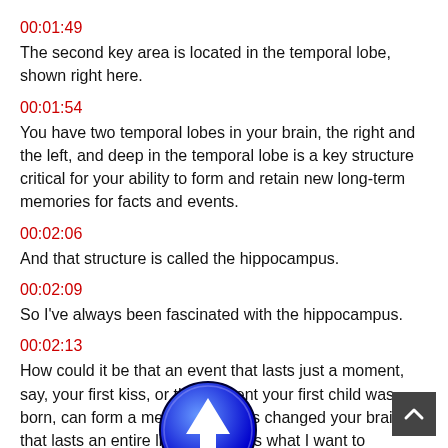00:01:49
The second key area is located in the temporal lobe, shown right here.
00:01:54
You have two temporal lobes in your brain, the right and the left, and deep in the temporal lobe is a key structure critical for your ability to form and retain new long-term memories for facts and events.
00:02:06
And that structure is called the hippocampus.
00:02:09
So I've always been fascinated with the hippocampus.
00:02:13
How could it be that an event that lasts just a moment, say, your first kiss, or the moment your first child was born, can form a memory that has changed your brain, that lasts an entire lifetime? That's what I want to